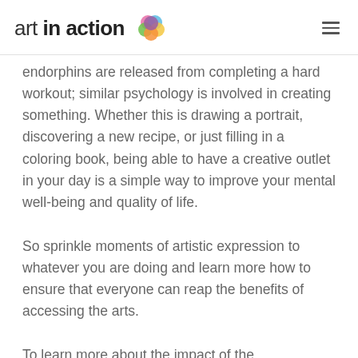art in action
endorphins are released from completing a hard workout; similar psychology is involved in creating something. Whether this is drawing a portrait, discovering a new recipe, or just filling in a coloring book, being able to have a creative outlet in your day is a simple way to improve your mental well-being and quality of life.
So sprinkle moments of artistic expression to whatever you are doing and learn more how to ensure that everyone can reap the benefits of accessing the arts.
To learn more about the impact of the